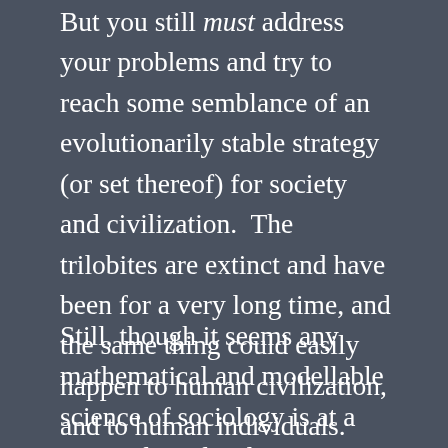But you still must address your problems and try to reach some semblance of an evolutionarily stable strategy (or set thereof) for society and civilization.  The trilobites are extinct and have been for a very long time, and the same thing could easily happen to human civilization, and to human individuals.  Nature would not care, would not give us any second chances, would not bend its rules in the slightest for us.  As far as we can tell, it never has, and it never will.
Still, though it seems any mathematical and modellable science of sociology is at a tremendous disadvantage (Asimov's “psychohistory” is a long way away) and may never be able to become a formalized until after